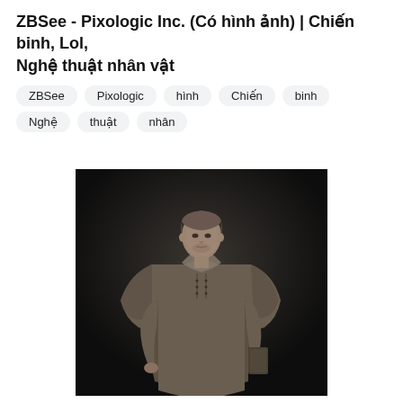ZBSee - Pixologic Inc. (Có hình ảnh) | Chiến binh, Lol, Nghệ thuật nhân vật
ZBSee
Pixologic
hình
Chiến
binh
Nghệ
thuật
nhân
[Figure (photo): A sepia-toned 3D sculpt or render of a male warrior/soldier character wearing a long coat with a cape, vest, and holding a weapon, standing against a dark background. The figure appears to be a ZBrush sculpt rendered in monochrome/clay style.]